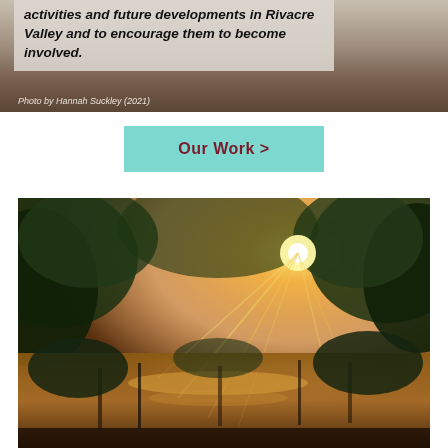activities and future developments in Rivacre Valley and to encourage them to become involved.
Photo by Hannah Suckley (2021)
Our Work >
[Figure (photo): Nature scene of a pond or river with golden sunlight streaming through trees, warm amber light reflecting on the water surface.]